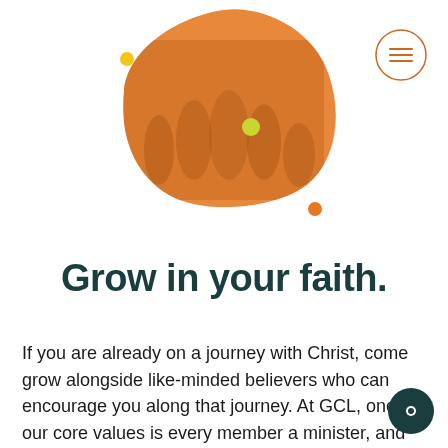[Figure (illustration): Orange blob shape with overlaid group photo of people, decorative dots in yellow, yellow-green, and orange]
[Figure (other): Hamburger menu icon inside a circle outline in the top right corner]
Grow in your faith.
If you are already on a journey with Christ, come grow alongside like-minded believers who can encourage you along that journey. At GCL, one of our core values is every member a minister, and we believe in the "priesthood of all believers" (1 Peter 2:4-5).